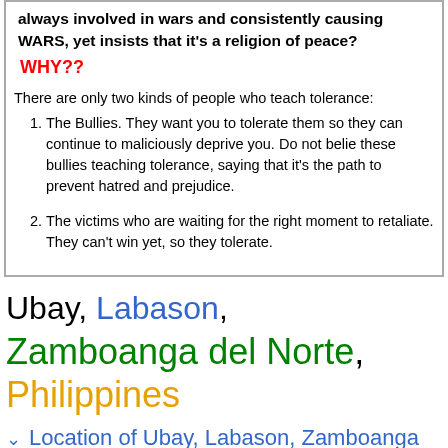always involved in wars and consistently causing WARS, yet insists that it's a religion of peace?
WHY??
There are only two kinds of people who teach tolerance:
The Bullies. They want you to tolerate them so they can continue to maliciously deprive you. Do not believe these bullies teaching tolerance, saying that it's the path to prevent hatred and prejudice.
The victims who are waiting for the right moment to retaliate. They can't win yet, so they tolerate.
Ubay, Labason, Zamboanga del Norte, Philippines
Location of Ubay, Labason, Zamboanga